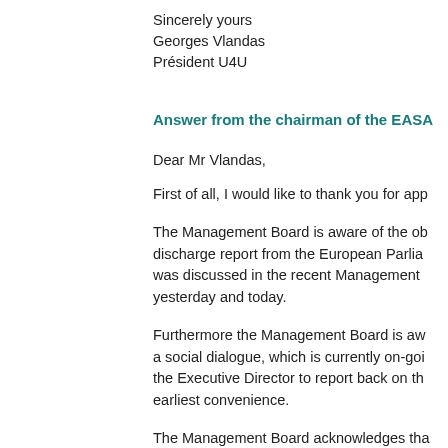Sincerely yours
Georges Vlandas
Président U4U
Answer from the chairman of the EASA
Dear Mr Vlandas,
First of all, I would like to thank you for app
The Management Board is aware of the ob discharge report from the European Parlia was discussed in the recent Management yesterday and today.
Furthermore the Management Board is aw a social dialogue, which is currently on-goi the Executive Director to report back on th earliest convenience.
The Management Board acknowledges tha affecting the aviation domain following the